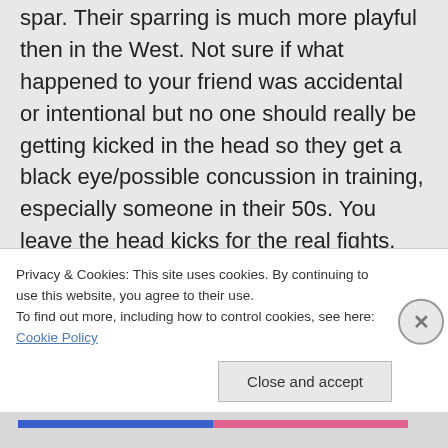spar. Their sparring is much more playful then in the West. Not sure if what happened to your friend was accidental or intentional but no one should really be getting kicked in the head so they get a black eye/possible concussion in training, especially someone in their 50s. You leave the head kicks for the real fights. It's good to hear that you have taken up Muay Thai and are enjoying it, James. I think it's absolutely fine to stick to pad work and
Privacy & Cookies: This site uses cookies. By continuing to use this website, you agree to their use.
To find out more, including how to control cookies, see here: Cookie Policy